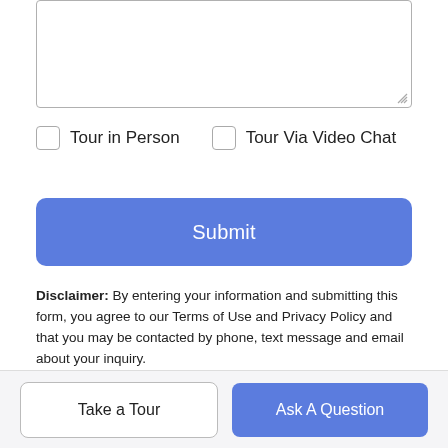[Figure (screenshot): Empty textarea input field with resize handle at bottom-right corner]
Tour in Person
Tour Via Video Chat
Submit
Disclaimer: By entering your information and submitting this form, you agree to our Terms of Use and Privacy Policy and that you may be contacted by phone, text message and email about your inquiry.
© 2022 MichRIC, LLC. All rights reserved. Information deemed reliable but not guaranteed. Updated: 2022-08-24T08:02:12.397.
Take a Tour
Ask A Question